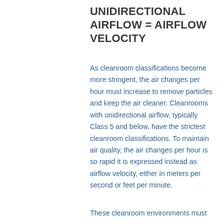UNIDIRECTIONAL AIRFLOW = AIRFLOW VELOCITY
As cleanroom classifications become more stringent, the air changes per hour must increase to remove particles and keep the air cleaner. Cleanrooms with unidirectional airflow, typically Class 5 and below, have the strictest cleanroom classifications. To maintain air quality, the air changes per hour is so rapid it is expressed instead as airflow velocity, either in meters per second or feet per minute.
These cleanroom environments must